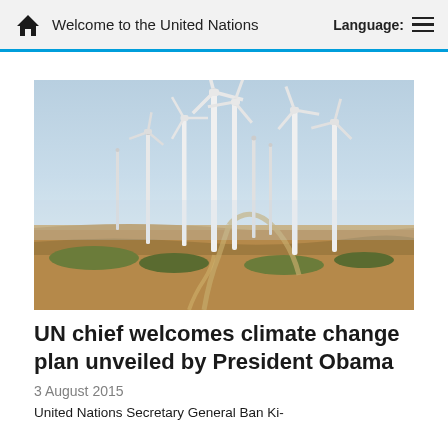Welcome to the United Nations
[Figure (photo): Wind farm with multiple large wind turbines on a dry landscape under a hazy blue sky]
UN chief welcomes climate change plan unveiled by President Obama
3 August 2015
United Nations Secretary General Ban Ki-